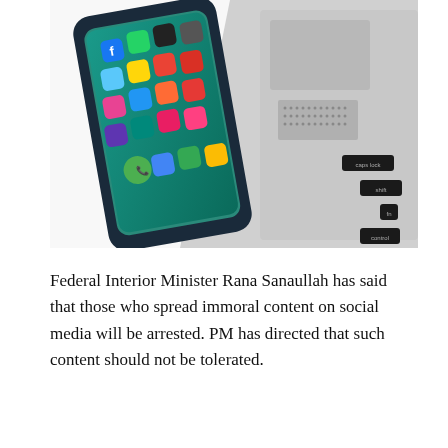[Figure (photo): A smartphone with a teal screen showing app icons (Facebook, WhatsApp, Chrome, Instagram, Maps, Gmail, etc.) lying next to a silver laptop showing the trackpad and keyboard (caps lock, shift, fn, control keys visible), on a white background.]
Federal Interior Minister Rana Sanaullah has said that those who spread immoral content on social media will be arrested. PM has directed that such content should not be tolerated.